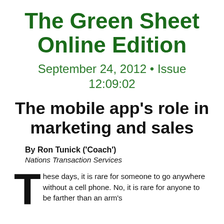The Green Sheet Online Edition
September 24, 2012 • Issue 12:09:02
The mobile app's role in marketing and sales
By Ron Tunick ('Coach')
Nations Transaction Services
These days, it is rare for someone to go anywhere without a cell phone. No, it is rare for anyone to be farther than an arm's